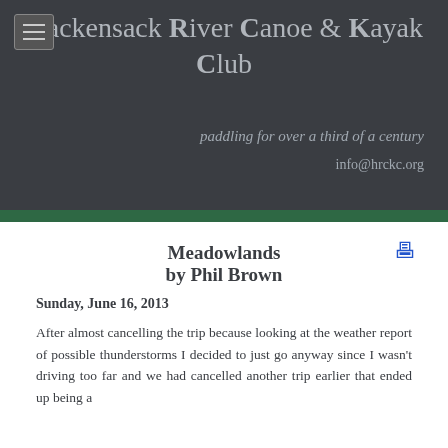Hackensack River Canoe & Kayak Club
paddling for over a third of a century
info@hrckc.org
Meadowlands
by Phil Brown
Sunday, June 16, 2013
After almost cancelling the trip because looking at the weather report of possible thunderstorms I decided to just go anyway since I wasn't driving too far and we had cancelled another trip earlier that ended up being a